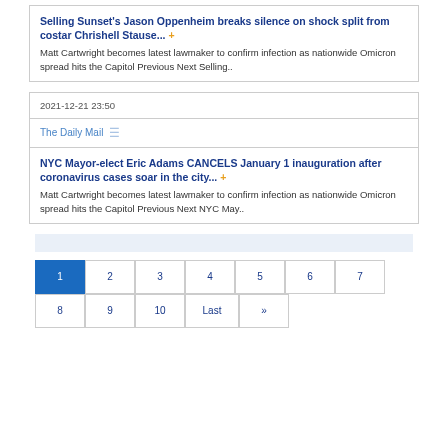Selling Sunset's Jason Oppenheim breaks silence on shock split from costar Chrishell Stause... +
Matt Cartwright becomes latest lawmaker to confirm infection as nationwide Omicron spread hits the Capitol Previous Next Selling..
2021-12-21 23:50
The Daily Mail
NYC Mayor-elect Eric Adams CANCELS January 1 inauguration after coronavirus cases soar in the city... +
Matt Cartwright becomes latest lawmaker to confirm infection as nationwide Omicron spread hits the Capitol Previous Next NYC May..
1 2 3 4 5 6 7 8 9 10 Last »